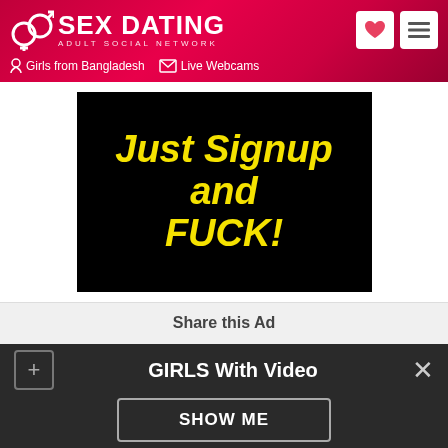SEX DATING ADULT SOCIAL NETWORK | Girls from Bangladesh | Live Webcams
[Figure (screenshot): Advertisement banner with black background and yellow bold italic text reading 'Just Signup and FUCK!']
Share this Ad
[Figure (infographic): Social sharing buttons: Facebook (f), Twitter (t), Google+ (g+), LinkedIn (in)]
GIRLS With Video
SHOW ME